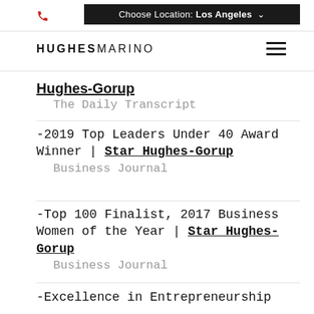Choose Location: Los Angeles
HUGHES MARINO
Hughes-Gorup
    The Daily Transcript
-2019 Top Leaders Under 40 Award Winner | Star Hughes-Gorup
    Business Journal
-Top 100 Finalist, 2017 Business Women of the Year | Star Hughes-Gorup
    Business Journal
-Excellence in Entrepreneurship